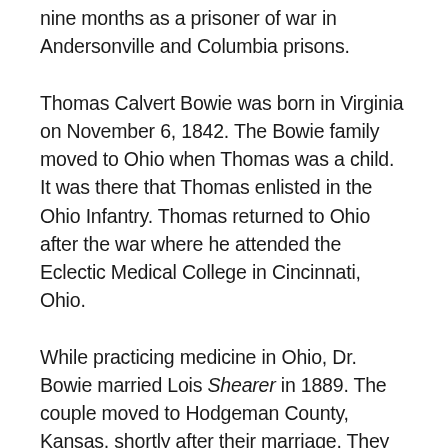nine months as a prisoner of war in Andersonville and Columbia prisons.
Thomas Calvert Bowie was born in Virginia on November 6, 1842. The Bowie family moved to Ohio when Thomas was a child. It was there that Thomas enlisted in the Ohio Infantry. Thomas returned to Ohio after the war where he attended the Eclectic Medical College in Cincinnati, Ohio.
While practicing medicine in Ohio, Dr. Bowie married Lois Shearer in 1889. The couple moved to Hodgeman County, Kansas, shortly after their marriage. They settled in Marena Township in Hanston, where their four sons were born. Dr. Bowie's